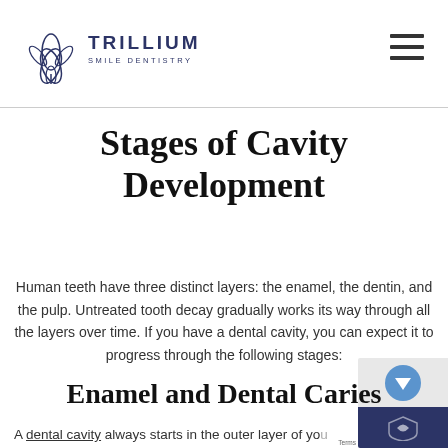Trillium Smile Dentistry
Stages of Cavity Development
Human teeth have three distinct layers: the enamel, the dentin, and the pulp. Untreated tooth decay gradually works its way through all the layers over time. If you have a dental cavity, you can expect it to progress through the following stages:
Enamel and Dental Caries
A dental cavity always starts in the outer layer of your the enamel. This layer is extremely strong and continuously